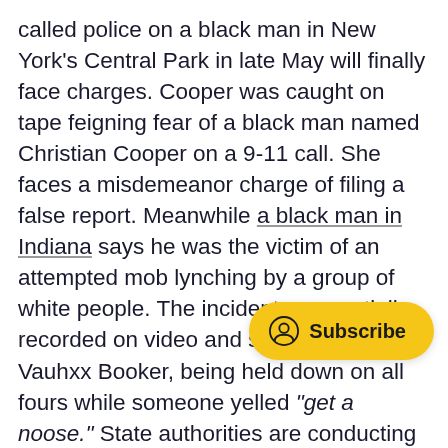called police on a black man in New York's Central Park in late May will finally face charges. Cooper was caught on tape feigning fear of a black man named Christian Cooper on a 9-11 call. She faces a misdemeanor charge of filing a false report. Meanwhile a black man in Indiana says he was the victim of an attempted mob lynching by a group of white people. The incident was partially recorded on video and shows the man, Vauhxx Booker, being held down on all fours while someone yelled “get a noose.” State authorities are conducting an investigation.
Mary L. Trump, a clinical psychologist who happens to be the niece of President Trump, has a tell-all book about her uncle called “Too Much and Never Enough: How My Family Created